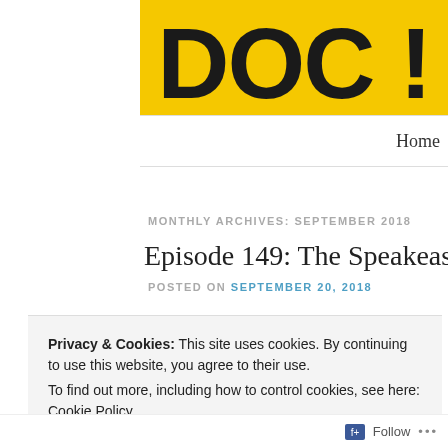[Figure (logo): Partial yellow banner with large dark bold letters, cropped at right edge]
Home
MONTHLY ARCHIVES: SEPTEMBER 2018
Episode 149: The Speakeasy of Po...
POSTED ON SEPTEMBER 20, 2018
Privacy & Cookies: This site uses cookies. By continuing to use this website, you agree to their use.
To find out more, including how to control cookies, see here: Cookie Policy
Close and accept
Follow ...